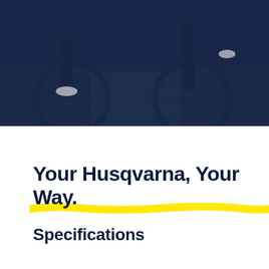[Figure (photo): Dark blue-tinted photograph showing the lower half of two bicycles and riders on a dirt path, wheels and legs visible against dry grass and ground.]
Your Husqvarna, Your Way.
Specifications